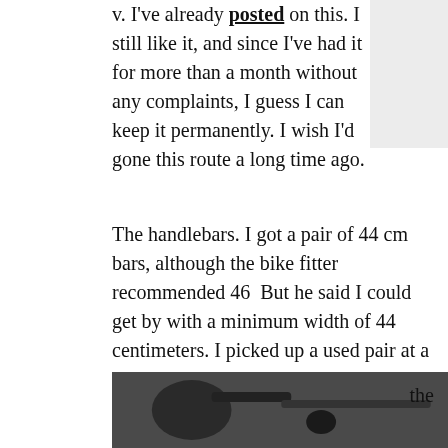v. I've already posted on this. I still like it, and since I've had it for more than a month without any complaints, I guess I can keep it permanently. I wish I'd gone this route a long time ago.
[Figure (photo): Light gray placeholder image in upper right area]
The handlebars. I got a pair of 44 cm bars, although the bike fitter recommended 46  But he said I could get by with a minimum width of 44 centimeters. I picked up a used pair at a good price. Even though they're only 2 cm wider than the old bars, I can feel the difference.  There's a less constricted feeling in
[Figure (photo): Black and white photo showing bicycle handlebars with an orange element visible]
the